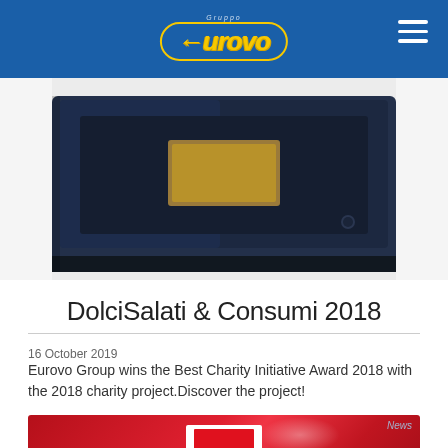Gruppo Eurovo
[Figure (photo): Dark-colored rectangular device/box photographed against a light background]
DolciSalati & Consumi 2018
16 October 2019
Eurovo Group wins the Best Charity Initiative Award 2018 with the 2018 charity project.Discover the project!
[Figure (photo): Red background image with a white square containing a red arc/logo symbol, with 'News' badge in top right corner]